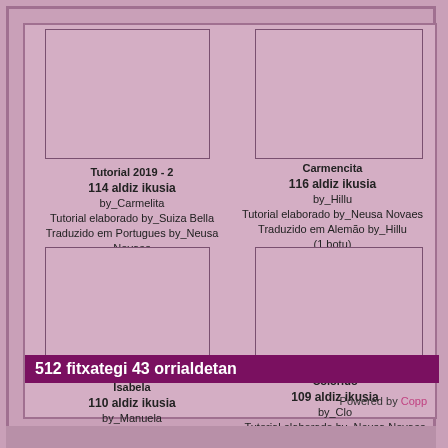[Figure (other): Placeholder image box for Tutorial 2019 - 2]
Tutorial 2019 - 2
114 aldiz ikusia
by_Carmelita
Tutorial elaborado by_Suiza Bella
Traduzido em Portugues by_Neusa Novaes
(1 botu)
[Figure (other): Placeholder image box for Carmencita]
Carmencita
116 aldiz ikusia
by_Hillu
Tutorial elaborado by_Neusa Novaes
Traduzido em Alemão by_Hillu
(1 botu)
[Figure (other): Placeholder image box for Isabela]
Isabela
110 aldiz ikusia
by_Manuela
Tutorial elaborado by_Neusa Novaes
(1 botu)
[Figure (other): Placeholder image box for Colorido]
Colorido
109 aldiz ikusia
by_Clo
Tutorial elaborado by_Neusa Novaes
Traduzido em Italiano by_Clo
(1 botu)
512 fitxategi 43 orrialdetan
Powered by Copp